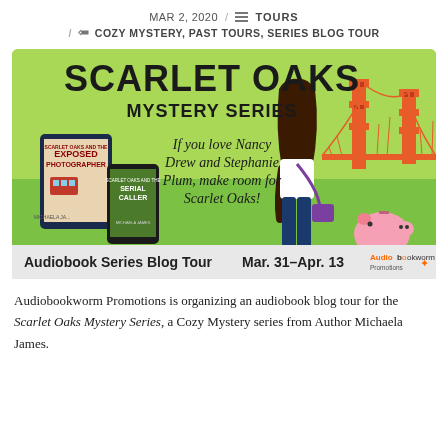MAR 2, 2020 / TOURS / COZY MYSTERY, PAST TOURS, SERIES BLOG TOUR
[Figure (illustration): Scarlet Oaks Mystery Series audiobook blog tour banner. Green background with Golden Gate Bridge illustration, a young woman with dark hair, a pink piggy bank, book covers for 'Exposed Photographer' and 'Serial Caller' by Michaela James. Text: 'SCARLET OAKS MYSTERY SERIES — If you love Nancy Drew and Stephanie Plum, make room for Scarlet Oaks! Audiobook Series Blog Tour Mar. 31–Apr. 13' with Audiobookworm Promotions logo.]
Audiobookworm Promotions is organizing an audiobook blog tour for the Scarlet Oaks Mystery Series, a Cozy Mystery series from Author Michaela James.